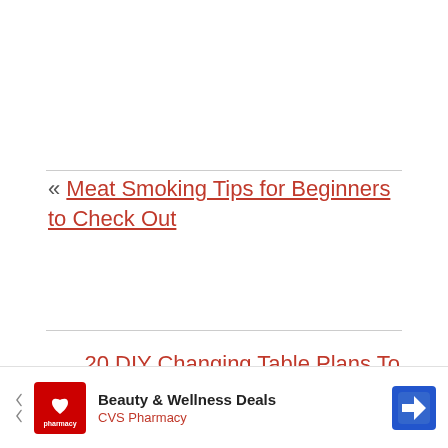« Meat Smoking Tips for Beginners to Check Out
20 DIY Changing Table Plans To Build For Your Baby »
[Figure (other): CVS Pharmacy advertisement banner — Beauty & Wellness Deals]